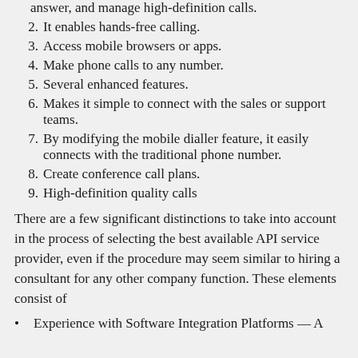answer, and manage high-definition calls.
2. It enables hands-free calling.
3. Access mobile browsers or apps.
4. Make phone calls to any number.
5. Several enhanced features.
6. Makes it simple to connect with the sales or support teams.
7. By modifying the mobile dialler feature, it easily connects with the traditional phone number.
8. Create conference call plans.
9. High-definition quality calls
There are a few significant distinctions to take into account in the process of selecting the best available API service provider, even if the procedure may seem similar to hiring a consultant for any other company function. These elements consist of
• Experience with Software Integration Platforms — A